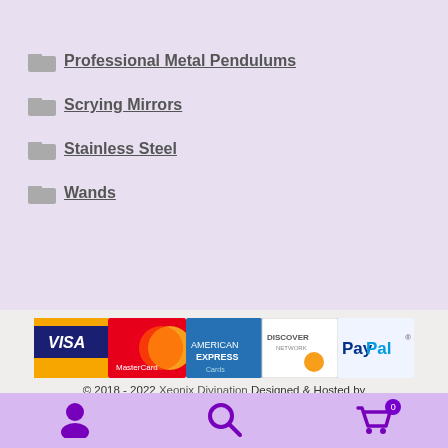Professional Metal Pendulums
Scrying Mirrors
Stainless Steel
Wands
[Figure (other): Payment logos: VISA, MasterCard, American Express Cards, Discover Network, PayPal]
© 2018 - 2022 Xeonix Divination Designed & Hosted by hostricity.com
RETAIL . . . WHOLESALE
User icon, Search icon, Cart icon with badge 0